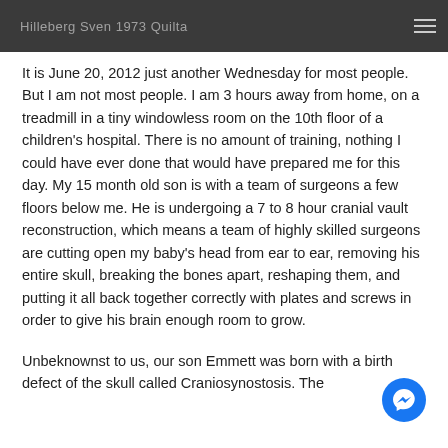Hilleberg Sven 1973 Quilta
It is June 20, 2012 just another Wednesday for most people. But I am not most people. I am 3 hours away from home, on a treadmill in a tiny windowless room on the 10th floor of a children's hospital. There is no amount of training, nothing I could have ever done that would have prepared me for this day. My 15 month old son is with a team of surgeons a few floors below me. He is undergoing a 7 to 8 hour cranial vault reconstruction, which means a team of highly skilled surgeons are cutting open my baby's head from ear to ear, removing his entire skull, breaking the bones apart, reshaping them, and putting it all back together correctly with plates and screws in order to give his brain enough room to grow.
Unbeknownst to us, our son Emmett was born with a birth defect of the skull called Craniosynostosis. The